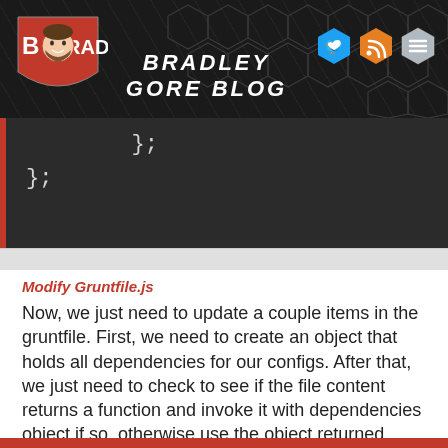[Figure (logo): Bradley Gore Blog header with logo shield showing bearded man face, B and RAD text, blog title text, and three social media icon hexagons (Twitter, RSS, menu)]
};
};
Modify Gruntfile.js
Now, we just need to update a couple items in the gruntfile. First, we need to create an object that holds all dependencies for our configs. After that, we just need to check to see if the file content returns a function and invoke it with dependencies object if so, otherwise use the object returned.